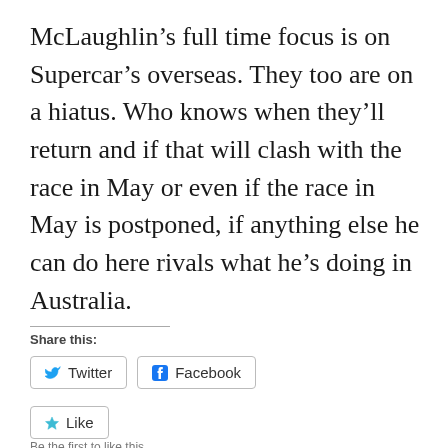McLaughlin’s full time focus is on Supercar’s overseas. They too are on a hiatus. Who knows when they’ll return and if that will clash with the race in May or even if the race in May is postponed, if anything else he can do here rivals what he’s doing in Australia.
Share this:
Twitter
Facebook
Like
Be the first to like this.